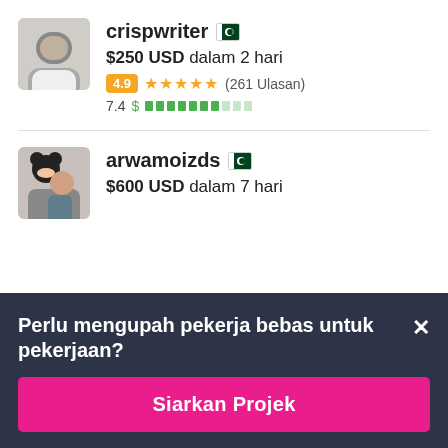[Figure (photo): Profile photo of crispwriter - man in white jacket]
crispwriter 🇵🇰
$250 USD dalam 2 hari
4.9 ★★★★★ (261 Ulasan)
7.4 $ ▓▓▓▓▓▓▓░░
[Figure (photo): Profile photo of arwamoizds - person with Mickey Mouse]
arwamoizds 🇵🇰
$600 USD dalam 7 hari
Perlu mengupah pekerja bebas untuk pekerjaan?
Siarkan Projek